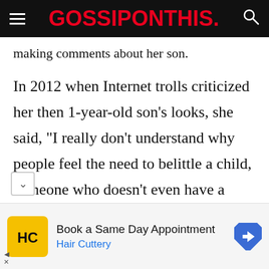GOSSIPONTHIS.
making comments about her son.
In 2012 when Internet trolls criticized her then 1-year-old son's looks, she said, “I really don’t understand why people feel the need to belittle a child, someone who doesn’t even have a voice yet to express themselves. I just think it’s disgusting—disgusting that we live
[Figure (infographic): Advertisement: Hair Cuttery - Book a Same Day Appointment with HC logo and navigation icon]